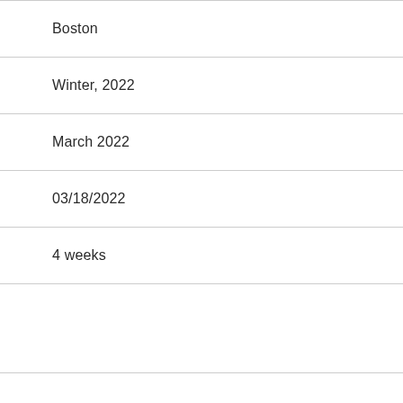Boston
Winter, 2022
March 2022
03/18/2022
4 weeks